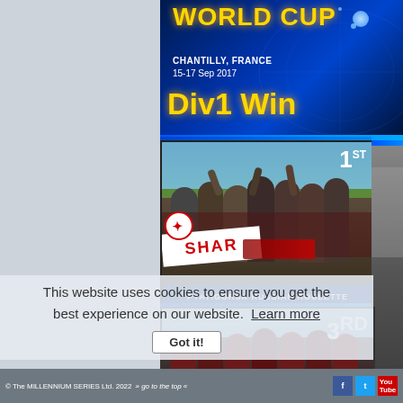[Figure (screenshot): World Cup Chantilly France 15-17 Sep 2017 tournament banner with Div1 winners announcement on dark blue background with gold text]
[Figure (photo): 1st place team photo - Pyatigorsk Russian Roulette team celebrating with a banner]
[Figure (photo): 3rd place team photo - players in red uniforms]
This website uses cookies to ensure you get the best experience on our website. Learn more
Got it!
© The MILLENNIUM SERIES Ltd. 2022  » go to the top «